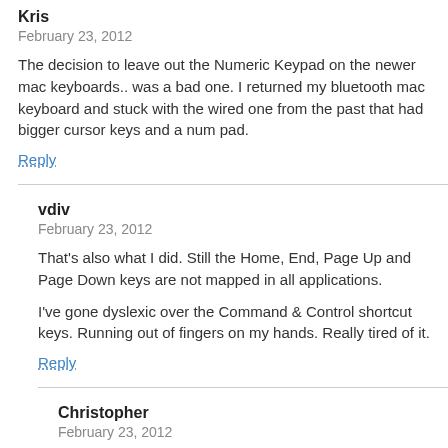Kris
February 23, 2012
The decision to leave out the Numeric Keypad on the newer mac keyboards.. was a bad one. I returned my bluetooth mac keyboard and stuck with the wired one from the past that had bigger cursor keys and a num pad.
Reply
vdiv
February 23, 2012
That's also what I did. Still the Home, End, Page Up and Page Down keys are not mapped in all applications.
I've gone dyslexic over the Command & Control shortcut keys. Running out of fingers on my hands. Really tired of it.
Reply
Christopher
February 23, 2012